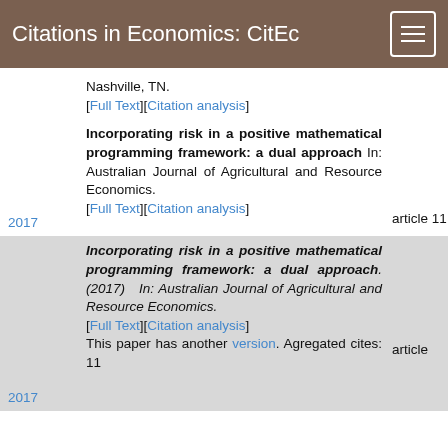Citations in Economics: CitEc
Nashville, TN.
[Full Text][Citation analysis]
Incorporating risk in a positive mathematical programming framework: a dual approach In: Australian Journal of Agricultural and Resource Economics.
[Full Text][Citation analysis]
2017
article 11
Incorporating risk in a positive mathematical programming framework: a dual approach.(2017) In: Australian Journal of Agricultural and Resource Economics.
[Full Text][Citation analysis]
This paper has another version. Agregated cites: 11
2017
article